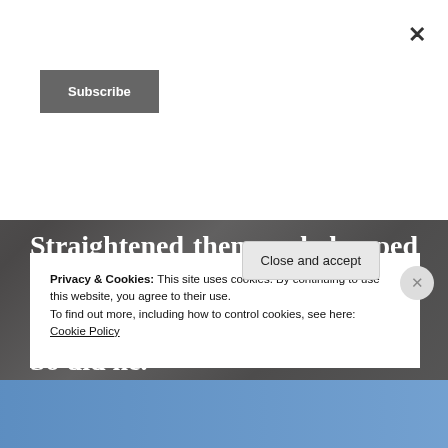×
Subscribe
Straightened them and clamped her thighs together in growing desperation. She needed release.

So did he.
Privacy & Cookies: This site uses cookies. By continuing to use this website, you agree to their use.
To find out more, including how to control cookies, see here:
Cookie Policy
Close and accept